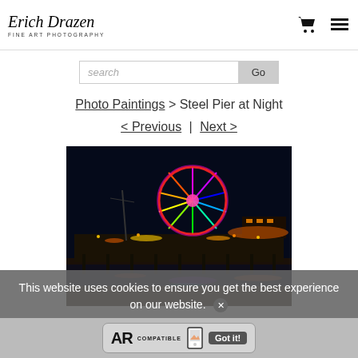Erich Drazen Fine Art Photography — header with cart and menu icons
search   Go
Photo Paintings > Steel Pier at Night
< Previous | Next >
[Figure (photo): Night photograph of Steel Pier with a colorful illuminated Ferris wheel reflecting on the water, with pier lights and dark sky]
This website uses cookies to ensure you get the best experience on our website.
Got it!